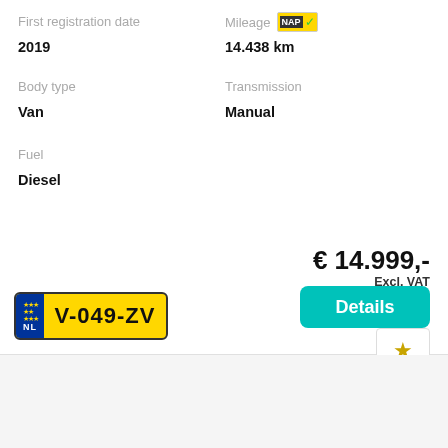First registration date
2019
Body type
Van
Fuel
Diesel
Mileage
14.438 km
Transmission
Manual
€ 14.999,-
Excl. VAT
v.a. € 239,- p/m
[Figure (other): Dutch license plate V-049-ZV with EU blue strip and NL country code]
[Figure (other): Building facade photo, partially visible]
Details